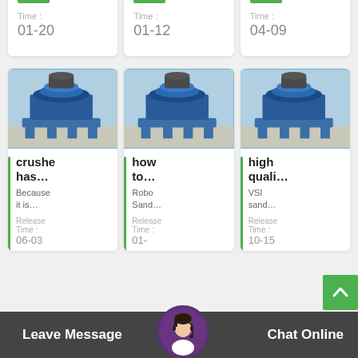Time : 01-20
Time : 01-12
Time : 04-09
[Figure (photo): Blue industrial VSI sand making crusher machine in a factory]
crusher has...
Because it is...
Release
Time : 06-03
[Figure (photo): Blue industrial VSI sand making crusher machine in a factory]
how to...
Robo Sand...
Release
Time : 01-
[Figure (photo): Blue industrial VSI sand making crusher machine in a factory]
high quali...
VSI sand...
Release
Time : 10-15
Leave Message
Chat Online